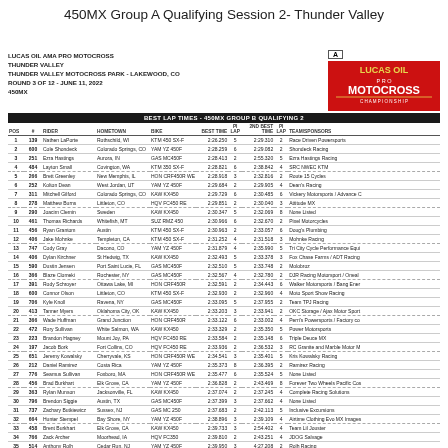450MX Group A Qualifying Session 2- Thunder Valley
LUCAS OIL AMA PRO MOTOCROSS
THUNDER VALLEY
THUNDER VALLEY MOTOCROSS PARK - LAKEWOOD, CO
ROUND 3 OF 12 - JUNE 11, 2022
450MX
| POS | # | RIDER | HOMETOWN | BIKE | BEST TIME | PI LAP | 2nd BEST TIME | PI LAP | TEAM/SPONSORS |
| --- | --- | --- | --- | --- | --- | --- | --- | --- | --- |
| 1 | 139 | Nathen LaPorte | Rothschild, WI | KTM 450 SX-F | 2:26.250 | 5 | 2:29.310 | 2 | Race Driven Powersports |
| 2 | 600 | Cole Shondeck | Colorado Springs, CO | YAM YZ 450F | 2:28.259 | 6 | 2:29.082 | 2 | Shondeck Racing |
| 3 | 251 | Ezra Hastings | Aurora, IN | GAS MC450F | 2:28.413 | 2 | 2:55.320 | 5 | Ezra Hastings Racing |
| 4 | 484 | Layton Small | Covington, WA | KTM 350 SX-F | 2:28.821 | 6 | 2:38.842 | 4 | SRC NWEC KTM |
| 5 | 266 | Brett Greenley | New Memphis, IL | HON CRF450R WE | 2:28.918 | 3 | 2:32.816 | 2 | Route 15 Cycles |
| 6 | 252 | Kolton Dean | West Jordan, UT | YAM YZ 450F | 2:29.684 | 2 | 2:29.905 | 4 | Dean's Racing |
| 7 | 311 | Mitchell Gilford | Colorado Springs, CO | KAW KX450 | 2:29.729 | 6 | 2:30.485 | 6 | Vickery Motorsports / Advance C |
| 8 | 278 | Matthew Burns | Littleton, CO | HQV FC450 RE | 2:29.851 | 2 | 2:30.040 | 3 | Attitude MX |
| 9 | 290 | Joacim Clemin | Sweden | KAW KX450 | 2:30.347 | 5 | 2:32.069 | 8 | None Listed |
| 10 | 461 | Thomas Richards | Whitefish, MT | SUZ RMZ 450 | 2:30.966 | 6 | 2:32.670 | 2 | Pixel Motorcycles |
| 11 | 456 | Ryan Grantom | Austin | KTM 450 SX-F | 2:30.963 | 2 | 2:33.057 | 6 | Doug's Plumbing |
| 12 | 406 | Jake Mohnke | Templeton, CA | KTM 450 SX-F | 2:31.252 | 4 | 2:31.518 | 3 | Mohnke Racing |
| 13 | 747 | Cody Gray | Dacono, CO | YAM YZ 450F | 2:31.879 | 4 | 2:35.990 | 5 | Tri City Cycle Performance Equi |
| 14 | 406 | Dylan Kirchner | St Hedwig, TX | KAW KX450 | 2:32.493 | 5 | 2:33.378 | 3 | Fox Chase Farms / ADT Racing |
| 15 | 590 | Dustin Jensen | Port Saint Lucie, FL | GAS MC450F | 2:32.510 | 5 | 2:33.748 | 2 | Molobroz |
| 16 | 366 | Blaze Clomeki | Rochester, NY | GAS MC450F | 2:32.567 | 4 | 2:32.780 | 2 | DJR Racing Motorsport / Oneal |
| 17 | 391 | Rody Schroyer | Ottawa Lake, MI | HON CRF450R | 2:32.591 | 2 | 2:34.443 | 6 | Walker Motorsports / Bang Ener |
| 18 | 600 | Connor Olson | Littleton, CO | KTM 450 SX-F | 2:32.930 | 2 | 2:32.960 | 4 | Moto Sport Show Racing |
| 19 | 706 | Kyle Knoll | Ravena, NY | GAS MC450F | 2:33.095 | 5 | 2:37.955 | 2 | Team TPJ Racing |
| 20 | 413 | Tanner Myers | Oklahoma City, OK | KAW KX450 | 2:33.203 | 3 | 2:33.941 | 2 | OKC Storage / Ajax Motor Sport |
| 21 | 366 | Wade Huffman | Grand Junction | HON CRF450R | 2:33.122 | 6 | 2:33.002 | 4 | Perri's Powersports / Factory co |
| 22 | 472 | Rory Sullivan | White Salmon, WA | KAW KX450 | 2:33.329 | 2 | 2:35.350 | 5 | Power Motorsports |
| 23 | 223 | Brandon Hagney | Mount Joy, PA | HQV FC450 RE | 2:33.584 | 2 | 2:35.148 | 6 | Triple Deuce MX |
| 24 | 197 | Jacob Bork | Fort Collins, CO | HQV FC450 RE | 2:33.936 | 2 | 2:36.532 | 3 | RC Granite and Marble Motor M |
| 25 | 651 | Jeremy Kowalsky | Cherryvale, KS | HON CRF450R WE | 2:34.541 | 3 | 2:35.401 | 5 | Kris Kowalsky Racing |
| 26 | 212 | Daniel Ramirez | Costa Rica | YAM YZ 450F | 2:35.373 | 8 | 2:36.395 | 2 | Ramirez Racing |
| 27 | 776 | Seamus Sullivan | Foxboro, MA | HON CRF450R WE | 2:35.477 | 6 | 2:35.524 | 5 | None Listed |
| 28 | 456 | Brad Burkhart | Elk Grove, CA | YAM YZ 450F | 2:36.829 | 2 | 2:43.469 | 8 | Forever Two Wheels Pacific Cos |
| 29 | 363 | Rylan Munson | Jacksonville, FL | KAW KX450 | 2:37.074 | 2 | 2:37.245 | 4 | Complete Racing Solutions |
| 30 | 796 | Brendon Siggie | Austin, TX | GAS MC450F | 2:37.399 | 3 | 2:37.662 | 4 | None Listed |
| 31 | 737 | Zachary Butkiewicz | Sussex, NJ | GAS MC 250 | 2:37.683 | 2 | 2:42.113 | 5 | Inclusive Excursions |
| 32 | 664 | Hunter Stempel | Bay Shore, NY | YAM YZ 450F | 2:38.896 | 3 | 2:39.109 | 4 | Airtime Clothing Evo MX Images |
| 33 | 458 | Brent Burkhart | Elk Grove, CA | KAW KX450 | 2:39.733 | 3 | 2:54.402 | 4 | Team Lil Jouster |
| 34 | 766 | Zack Archer | Moorhead, IA | HQV FC350 | 2:39.810 | 2 | 2:43.251 | 4 | JDOG Salvage |
| 35 | 514 | Anthony Rolh | Cedar Run, NJ | YAM YZ 450F | 2:39.950 | 3 | 4:27.208 | 2 | Rolh Racing |
| 36 | 979 | Philip Maus | Albany, MN | HQV FC450 | 2:40.390 | 3 | 2:42.306 | 2 | Maus Racing |
| 37 | 168 | Cole Kuchniski | Alanson, MI | KTM 350 SX | 2:41.160 | 6 | 2:42.713 | 6 | peeweekcycle.com |
| 38 | 291 | Corey Kirkland | Clatskanie, OR | HON CRF450R | 2:44.530 | 2 | 2:47.317 | 4 | Best Lean Motorsrooms / Motogi |